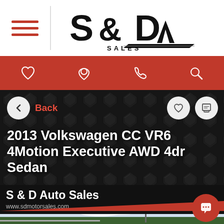S & D Sales logo navigation
[Figure (screenshot): S & D Sales logo with road graphic]
[Figure (screenshot): Red navigation icon bar with heart, location pin, phone, and search icons]
2013 Volkswagen CC VR6 4Motion Executive AWD 4dr Sedan
S & D Auto Sales
www.sdmotorsales.com
[Figure (photo): Car dealership photo showing a silver sedan in a parking lot with trees and sky in background]